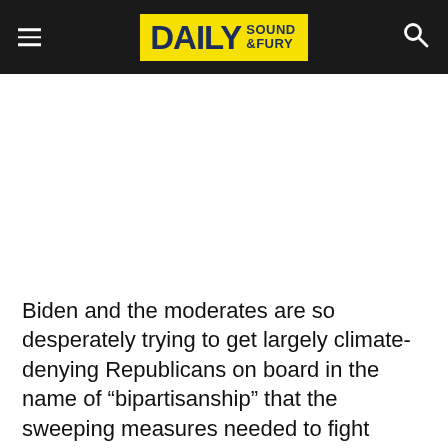DAILY SOUND & FURY
Biden and the moderates are so desperately trying to get largely climate-denying Republicans on board in the name of “bipartisanship” that the sweeping measures needed to fight climate change are continually at risk of getting